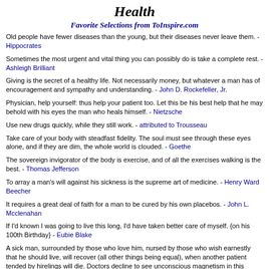Health
Favorite Selections from ToInspire.com
Old people have fewer diseases than the young, but their diseases never leave them. - Hippocrates
Sometimes the most urgent and vital thing you can possibly do is take a complete rest. - Ashleigh Brilliant
Giving is the secret of a healthy life. Not necessarily money, but whatever a man has of encouragement and sympathy and understanding. - John D. Rockefeller, Jr.
Physician, help yourself: thus help your patient too. Let this be his best help that he may behold with his eyes the man who heals himself. - Nietzsche
Use new drugs quickly, while they still work. - attributed to Trousseau
Take care of your body with steadfast fidelity. The soul must see through these eyes alone, and if they are dim, the whole world is clouded. - Goethe
The sovereign invigorator of the body is exercise, and of all the exercises walking is the best. - Thomas Jefferson
To array a man's will against his sickness is the supreme art of medicine. - Henry Ward Beecher
It requires a great deal of faith for a man to be cured by his own placebos. - John L. Mcclenahan
If I'd known I was going to live this long, I'd have taken better care of myself. {on his 100th Birthday} - Eubie Blake
A sick man, surrounded by those who love him, nursed by those who wish earnestly that he should live, will recover (all other things being equal), when another patient tended by hirelings will die. Doctors decline to see unconscious magnetism in this phenomenon; for them it is the result of intelligent nursing, of exact obedience to their orders; but many a mother knows the virtue of such ardent projections of strong, unceasing prayer. - Honore de Balzac
No matter how important new discoveries and methods, they cannot be considered to have reached fulfillment until generally applied to the sick. (1939, Harvard Medical School) - William B. Castle